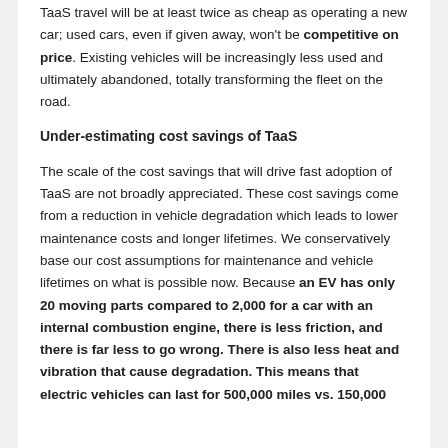TaaS travel will be at least twice as cheap as operating a new car; used cars, even if given away, won't be competitive on price. Existing vehicles will be increasingly less used and ultimately abandoned, totally transforming the fleet on the road.
Under-estimating cost savings of TaaS
The scale of the cost savings that will drive fast adoption of TaaS are not broadly appreciated. These cost savings come from a reduction in vehicle degradation which leads to lower maintenance costs and longer lifetimes. We conservatively base our cost assumptions for maintenance and vehicle lifetimes on what is possible now. Because an EV has only 20 moving parts compared to 2,000 for a car with an internal combustion engine, there is less friction, and there is far less to go wrong. There is also less heat and vibration that cause degradation. This means that electric vehicles can last for 500,000 miles vs. 150,000